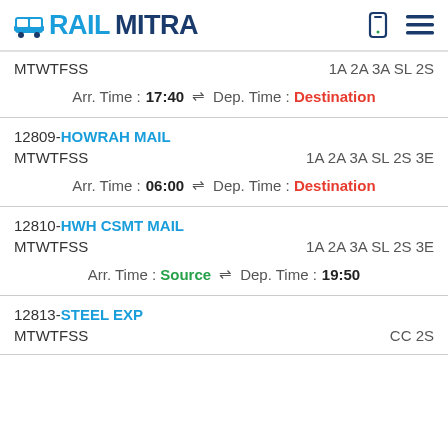RAILMITRA
MTWTFSS | 1A 2A 3A SL 2S | Arr. Time : 17:40 ⇌ Dep. Time : Destination
12809-HOWRAH MAIL | MTWTFSS | 1A 2A 3A SL 2S 3E | Arr. Time : 06:00 ⇌ Dep. Time : Destination
12810-HWH CSMT MAIL | MTWTFSS | 1A 2A 3A SL 2S 3E | Arr. Time : Source ⇌ Dep. Time : 19:50
12813-STEEL EXP | MTWTFSS | CC 2S